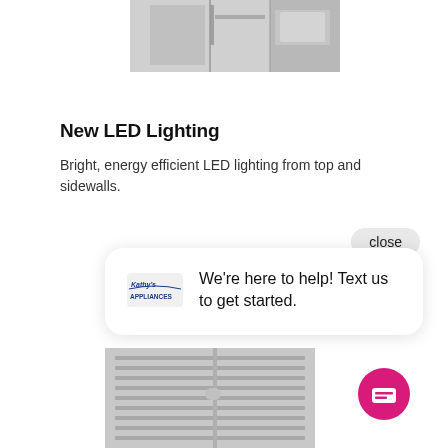[Figure (photo): Top portion of a refrigerator interior, grayscale photo showing the top and side walls]
New LED Lighting
Bright, energy efficient LED lighting from top and sidewalls.
[Figure (screenshot): Chat widget popup with a close button. Shows the Kathy's Appliances logo and text: We're here to help! Text us to get started. A pink circular chat icon is in the bottom right.]
[Figure (photo): Bottom portion of a refrigerator interior showing shelves, grayscale photo]